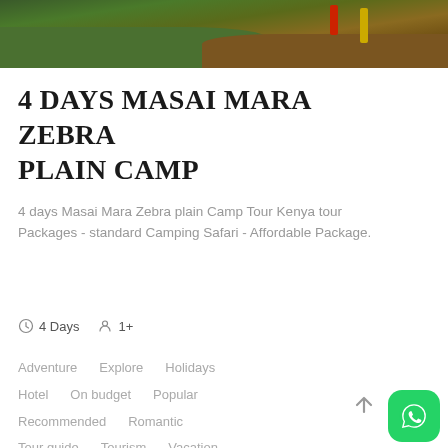[Figure (photo): Top portion of an outdoor photo showing grass and dirt ground with colored stakes (red and yellow), partially cropped at top of page]
4 days Masai Mara Zebra plain Camp
4 days Masai Mara Zebra plain Camp Tour Kenya tour Packages - standard Camping Safari - Affordable Package.
4 Days  1+
Adventure   Explore   Holidays
Hotel   On budget   Popular
Recommended   Romantic
Tour guide   Tourism   Vacation